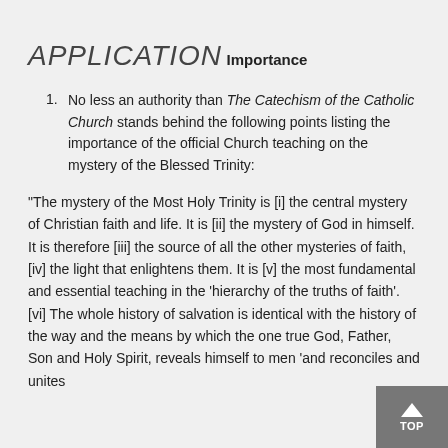APPLICATION
Importance
No less an authority than The Catechism of the Catholic Church stands behind the following points listing the importance of the official Church teaching on the mystery of the Blessed Trinity:
“The mystery of the Most Holy Trinity is [i] the central mystery of Christian faith and life. It is [ii] the mystery of God in himself. It is therefore [iii] the source of all the other mysteries of faith, [iv] the light that enlightens them. It is [v] the most fundamental and essential teaching in the ‘hierarchy of the truths of faith’. [vi] The whole history of salvation is identical with the history of the way and the means by which the one true God, Father, Son and Holy Spirit, reveals himself to men ‘and reconciles and unites